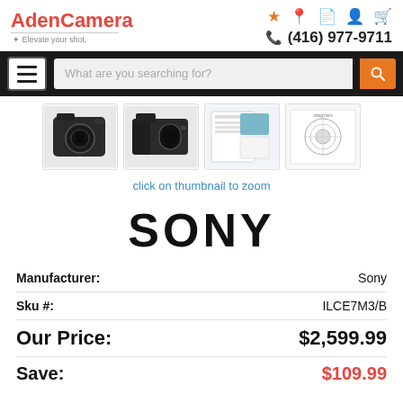[Figure (logo): AdenCamera logo with tagline 'Elevate your shot.' in red and gray]
[Figure (screenshot): Header icons: star, location, document, user, cart in orange; phone icon with number (416) 977-9711]
[Figure (screenshot): Navigation bar with hamburger menu button, search box 'What are you searching for?', and orange search button]
[Figure (photo): Four camera product thumbnails: Sony camera body front, Sony camera body side, product spec sheet, lens diagram]
click on thumbnail to zoom
[Figure (logo): SONY logo in large bold black text]
| Label | Value |
| --- | --- |
| Manufacturer: | Sony |
| Sku #: | ILCE7M3/B |
| Our Price: | $2,599.99 |
| Save: | $109.99 |